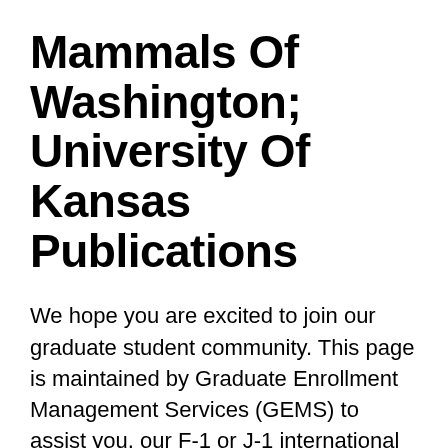Mammals Of Washington; University Of Kansas Publications
We hope you are excited to join our graduate student community. This page is maintained by Graduate Enrollment Management Services (GEMS) to assist you, our F-1 or J-1 international graduate students, as you prepare to begin your program and arrive on campus. University of Washington Human Resources. If you are using a screen reader and experience any difficulty accessing our web pages, please call 206-543-2544 or email UWhires and we will be happy to assist.